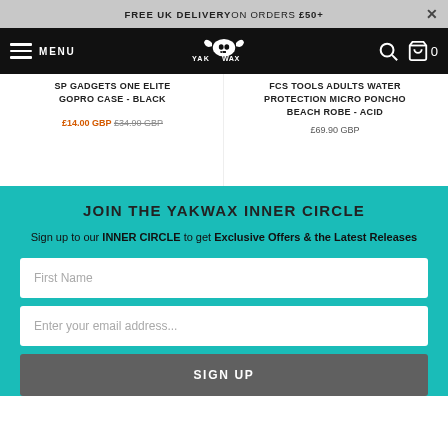FREE UK DELIVERY ON ORDERS £50+
MENU | YAK WAX logo | search | cart 0
SP GADGETS ONE ELITE GOPRO CASE - BLACK £14.00 GBP £34.90 GBP
FCS TOOLS ADULTS WATER PROTECTION MICRO PONCHO BEACH ROBE - ACID £69.90 GBP
JOIN THE YAKWAX INNER CIRCLE
Sign up to our INNER CIRCLE to get Exclusive Offers & the Latest Releases
First Name
Enter your email address...
SIGN UP